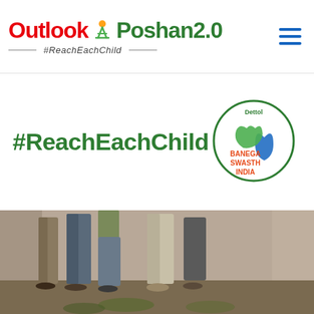[Figure (logo): Outlook Poshan 2.0 logo with #ReachEachChild hashtag and hamburger menu icon]
#ReachEachChild
[Figure (logo): Dettol Banega Swasth India circular logo]
[Figure (photo): Photograph of several people standing outdoors, showing bodies from approximately waist down, in what appears to be a rural/field setting]